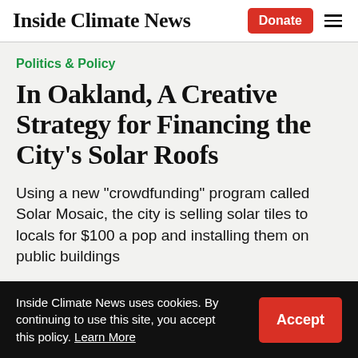Inside Climate News
Politics & Policy
In Oakland, A Creative Strategy for Financing the City's Solar Roofs
Using a new "crowdfunding" program called Solar Mosaic, the city is selling solar tiles to locals for $100 a pop and installing them on public buildings
Inside Climate News uses cookies. By continuing to use this site, you accept this policy. Learn More